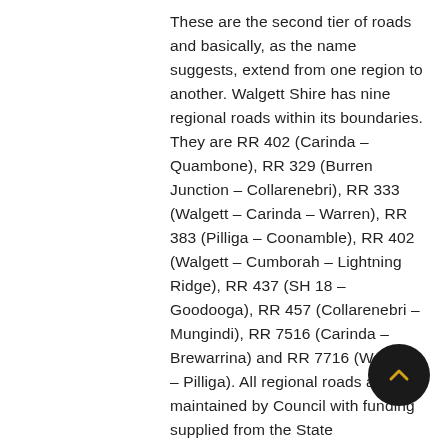These are the second tier of roads and basically, as the name suggests, extend from one region to another. Walgett Shire has nine regional roads within its boundaries. They are RR 402 (Carinda – Quambone), RR 329 (Burren Junction – Collarenebri), RR 333 (Walgett – Carinda – Warren), RR 383 (Pilliga – Coonamble), RR 402 (Walgett – Cumborah – Lightning Ridge), RR 437 (SH 18 – Goodooga), RR 457 (Collarenebri – Mungindi), RR 7516 (Carinda – Brewarrina) and RR 7716 (Walgett – Pilliga). All regional roads are maintained by Council with funding supplied from the State Government. Only part of the regional road network is sealed. Council is proceeding with upgrading